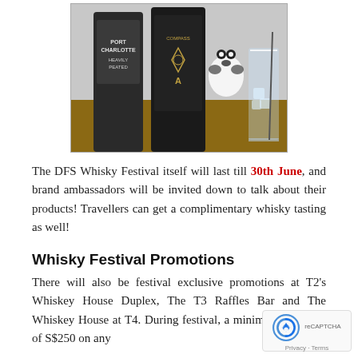[Figure (photo): Photo showing two dark whisky bottles (Port Charlotte Heavily Peated and Compass Box) alongside a small panda stuffed toy and a glass of whisky with ice on a wooden surface.]
The DFS Whisky Festival itself will last till 30th June, and brand ambassadors will be invited down to talk about their products! Travellers can get a complimentary whisky tasting as well!
Whisky Festival Promotions
There will also be festival exclusive promotions at T2's Whiskey House Duplex, The T3 Raffles Bar and The Whiskey House at T4. During festival, a minimum purchase of S$250 on any